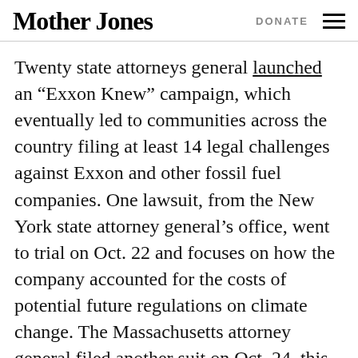Mother Jones | DONATE
Twenty state attorneys general launched an “Exxon Knew” campaign, which eventually led to communities across the country filing at least 14 legal challenges against Exxon and other fossil fuel companies. One lawsuit, from the New York state attorney general’s office, went to trial on Oct. 22 and focuses on how the company accounted for the costs of potential future regulations on climate change. The Massachusetts attorney general filed another suit on Oct. 24, this time claiming the company had engaged in deceptive advertising and misled investors about the systemic financial risks to its business posed by fossil fuel-driven climate change. Earlier this year, the town of Hempfield in att